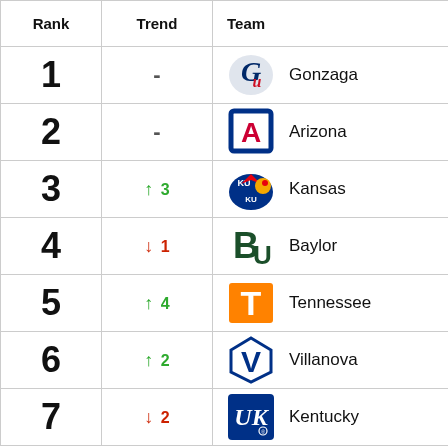| Rank | Trend | Team |
| --- | --- | --- |
| 1 | - | Gonzaga |
| 2 | - | Arizona |
| 3 | ↑ 3 | Kansas |
| 4 | ↓ 1 | Baylor |
| 5 | ↑ 4 | Tennessee |
| 6 | ↑ 2 | Villanova |
| 7 | ↓ 2 | Kentucky |